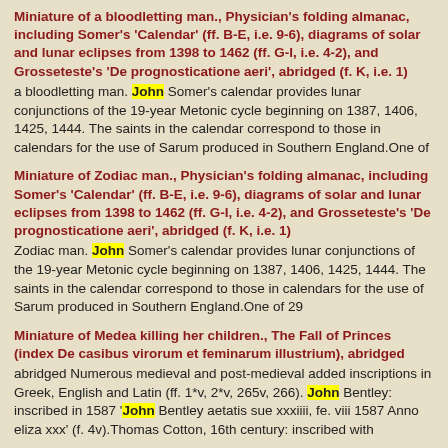Miniature of a bloodletting man., Physician's folding almanac, including Somer's 'Calendar' (ff. B-E, i.e. 9-6), diagrams of solar and lunar eclipses from 1398 to 1462 (ff. G-I, i.e. 4-2), and Grosseteste's 'De prognosticatione aeri', abridged (f. K, i.e. 1)
a bloodletting man. John Somer's calendar provides lunar conjunctions of the 19-year Metonic cycle beginning on 1387, 1406, 1425, 1444. The saints in the calendar correspond to those in calendars for the use of Sarum produced in Southern England.One of
Miniature of Zodiac man., Physician's folding almanac, including Somer's 'Calendar' (ff. B-E, i.e. 9-6), diagrams of solar and lunar eclipses from 1398 to 1462 (ff. G-I, i.e. 4-2), and Grosseteste's 'De prognosticatione aeri', abridged (f. K, i.e. 1)
Zodiac man. John Somer's calendar provides lunar conjunctions of the 19-year Metonic cycle beginning on 1387, 1406, 1425, 1444. The saints in the calendar correspond to those in calendars for the use of Sarum produced in Southern England.One of 29
Miniature of Medea killing her children., The Fall of Princes (index De casibus virorum et feminarum illustrium), abridged
abridged Numerous medieval and post-medieval added inscriptions in Greek, English and Latin (ff. 1*v, 2*v, 265v, 266). John Bentley: inscribed in 1587 'John Bentley aetatis sue xxxiiii, fe. viii 1587 Anno eliza xxx' (f. 4v).Thomas Cotton, 16th century: inscribed with
Miniature with two hanging men., The Fall of Princes (index De casibus virorum et feminarum illustrium), abridged
abridged Numerous medieval and post-medieval added inscriptions in Greek, English and Latin (ff. 1*v, 2*v, 265v, 266). John Bentley: